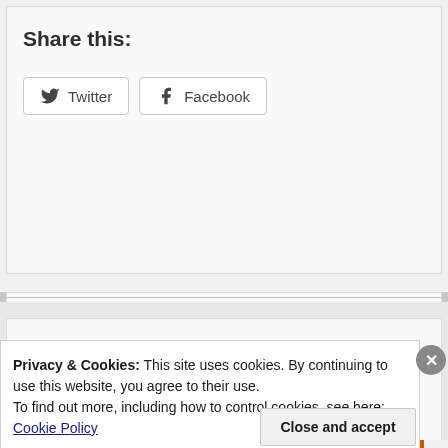Share this:
Twitter  Facebook
Loading...
Privacy & Cookies: This site uses cookies. By continuing to use this website, you agree to their use.
To find out more, including how to control cookies, see here: Cookie Policy
Close and accept